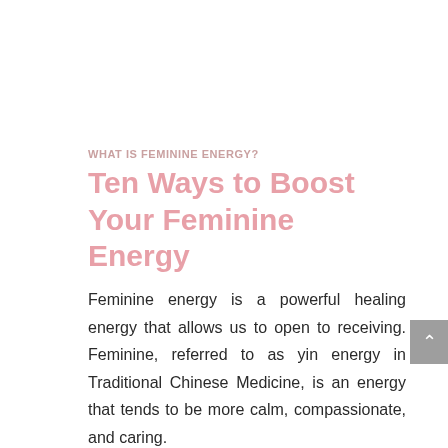WHAT IS FEMININE ENERGY?
Ten Ways to Boost Your Feminine Energy
Feminine energy is a powerful healing energy that allows us to open to receiving. Feminine, referred to as yin energy in Traditional Chinese Medicine, is an energy that tends to be more calm, compassionate, and caring.